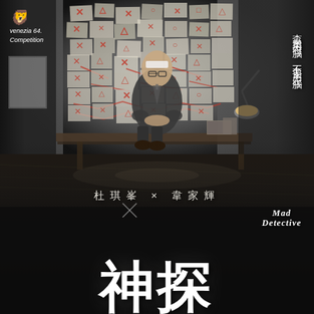[Figure (photo): Movie poster for 'Mad Detective' (神探). Dark, dramatic photo of a man in a suit sitting on a desk in a room with papers, symbols and red markings covering the wall behind him. Moody lighting. Background shows cluttered investigation board with Chinese characters and symbols scrawled in red. Wooden floor visible in the lower portion.]
venezia 64. Competition
查案用右腦，不要用左腦
杜琪峯 × 韋家輝
Mad Detective
神探